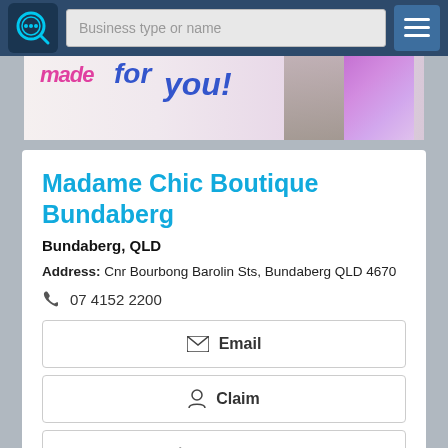Business type or name
[Figure (photo): Banner image showing fashion boutique promotional graphic with pink and blue text saying 'made for you' with models in background]
Madame Chic Boutique Bundaberg
Bundaberg, QLD
Address: Cnr Bourbong Barolin Sts, Bundaberg QLD 4670
07 4152 2200
Email
Claim
Call Now